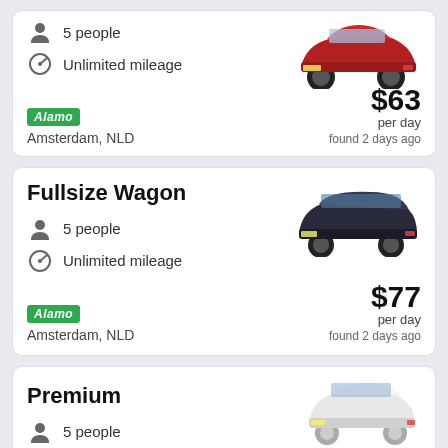5 people | Unlimited mileage | Alamo | Amsterdam, NLD | $63 per day | found 2 days ago
[Figure (photo): Red Mazda 6 sedan car]
Fullsize Wagon
5 people | Unlimited mileage | Alamo | Amsterdam, NLD | $77 per day | found 2 days ago
[Figure (photo): Dark gray Audi A4 Avant station wagon]
Premium
5 people | Unlimited mileage | $80 per day (partial)
[Figure (photo): White Audi A4 sedan]